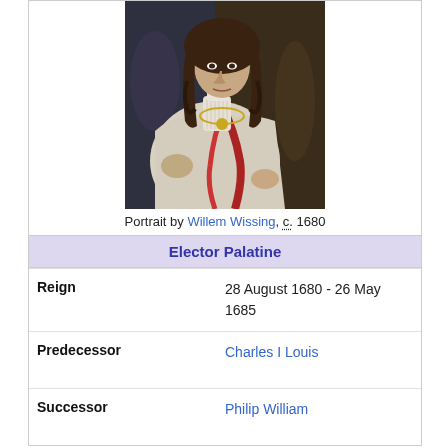[Figure (photo): Portrait painting of a nobleman with long curly dark hair, wearing white robes and ornate ceremonial attire with red sash, dark background.]
Portrait by Willem Wissing, c. 1680
| Elector Palatine |
| Reign | 28 August 1680 - 26 May 1685 |
| Predecessor | Charles I Louis |
| Successor | Philip William |